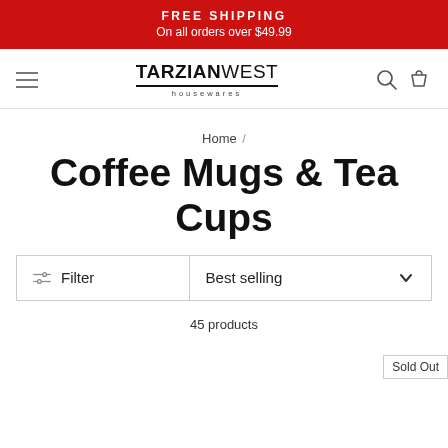FREE SHIPPING
On all orders over $49.99
[Figure (screenshot): Tarzian West housewares logo with navigation hamburger menu, search icon, and cart icon]
Home /
Coffee Mugs & Tea Cups
Filter | Best selling
45 products
Sold Out